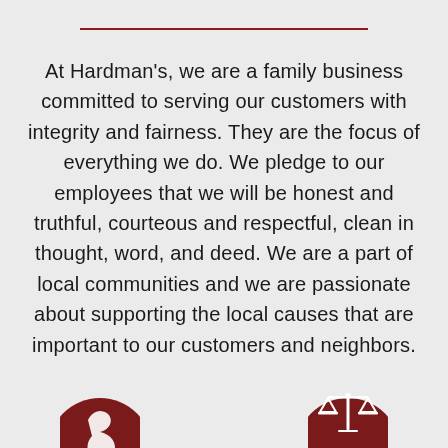At Hardman's, we are a family business committed to serving our customers with integrity and fairness. They are the focus of everything we do. We pledge to our employees that we will be honest and truthful, courteous and respectful, clean in thought, word, and deed. We are a part of local communities and we are passionate about supporting the local causes that are important to our customers and neighbors.
[Figure (illustration): Circular dark red icon with a white bird/arrow symbol, partially visible at bottom left]
[Figure (illustration): Circular dark red icon with a white scales of justice symbol, partially visible at bottom right]